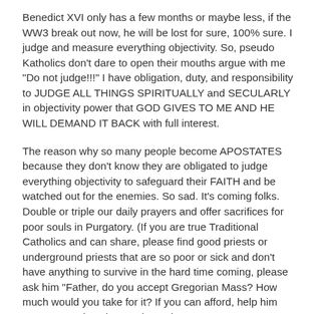Benedict XVI only has a few months or maybe less, if the WW3 break out now, he will be lost for sure, 100% sure. I judge and measure everything objectivity. So, pseudo Katholics don't dare to open their mouths argue with me "Do not judge!!!" I have obligation, duty, and responsibility to JUDGE ALL THINGS SPIRITUALLY and SECULARLY in objectivity power that GOD GIVES TO ME AND HE WILL DEMAND IT BACK with full interest.
The reason why so many people become APOSTATES because they don't know they are obligated to judge everything objectivity to safeguard their FAITH and be watched out for the enemies. So sad. It's coming folks. Double or triple our daily prayers and offer sacrifices for poor souls in Purgatory. (If you are true Traditional Catholics and can share, please find good priests or underground priests that are so poor or sick and don't have anything to survive in the hard time coming, please ask him "Father, do you accept Gregorian Mass? How much would you take for it? If you can afford, help him out. We need to share to keep those